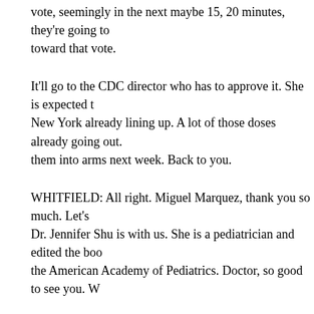vote, seemingly in the next maybe 15, 20 minutes, they're going to toward that vote.
It'll go to the CDC director who has to approve it. She is expected t New York already lining up. A lot of those doses already going out. them into arms next week. Back to you.
WHITFIELD: All right. Miguel Marquez, thank you so much. Let's Dr. Jennifer Shu is with us. She is a pediatrician and edited the boo the American Academy of Pediatrics. Doctor, so good to see you. W
JENNIFER SHU, PEDIATRICIAN: Thank you so much for having
WHITFIELD: All right. So, let me get your reaction is are you anti come today from the CDC?
WHITFIELD: All right. So, let me get your reaction is are you anti